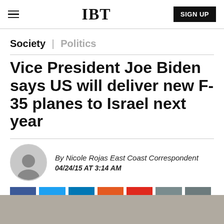IBT | SIGN UP
Society | Politics
Vice President Joe Biden says US will deliver new F-35 planes to Israel next year
By Nicole Rojas East Coast Correspondent
04/24/15 AT 3:14 AM
[Figure (infographic): Social sharing buttons: Facebook, Twitter, LinkedIn, Reddit, Flipboard, Email, Comment]